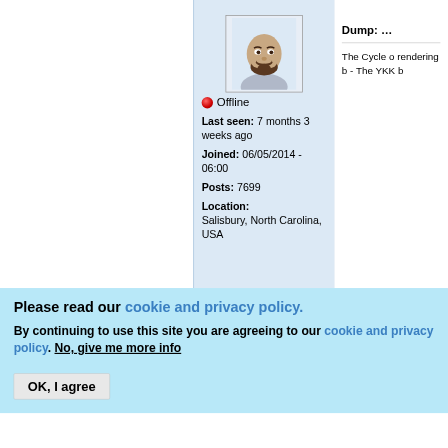[Figure (illustration): Avatar illustration of a man with beard, wearing a grey shirt, shown from shoulders up. Displayed in a bordered box with light blue background.]
Offline
Last seen: 7 months 3 weeks ago
Joined: 06/05/2014 - 06:00
Posts: 7699
Location: Salisbury, North Carolina, USA
The Cycle o rendering b - The YKK b
Please read our cookie and privacy policy.
By continuing to use this site you are agreeing to our cookie and privacy policy. No, give me more info
OK, I agree